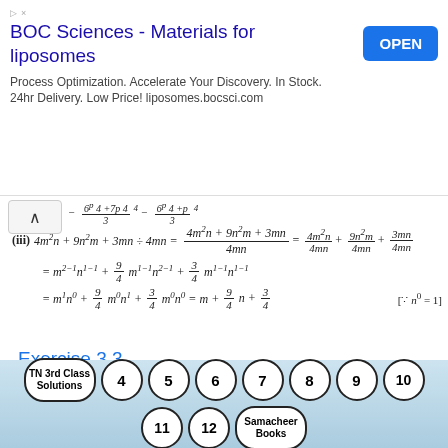[Figure (other): Advertisement banner for BOC Sciences - Materials for liposomes with OPEN button]
Exercise 3.3
Try these Page No. 81
Question 1.
[Figure (other): Navigation bubbles: TN 3rd Class Solutions, 4, 5, 6, 7, 8, 9, 10, 11, 12, Samacheer Books]